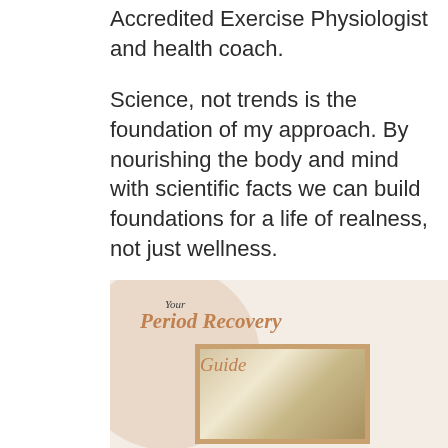Accredited Exercise Physiologist and health coach.
Science, not trends is the foundation of my approach. By nourishing the body and mind with scientific facts we can build foundations for a life of realness, not just wellness.
[Figure (illustration): Cover of 'Your Period Recovery Guide' — a wellness guide with a peach circle background, italic serif title in warm orange/brown tones, and a framed photo of an abdomen/torso wrapped in soft fabric.]
[Figure (photo): Photo of two women hugging and smiling — one with dark skin and natural hair, one with light skin and blonde hair, against a white curtain background.]